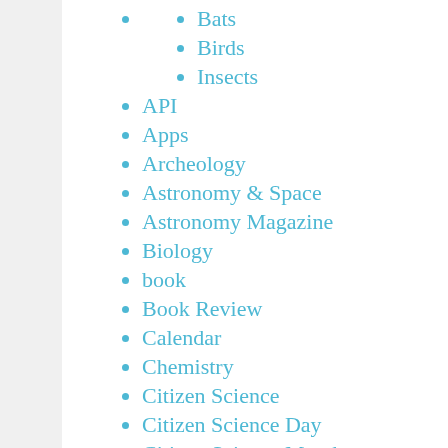Bats
Birds
Insects
API
Apps
Archeology
Astronomy & Space
Astronomy Magazine
Biology
book
Book Review
Calendar
Chemistry
Citizen Science
Citizen Science Day
Citizen Science Month
Citizen Science News
CitSci Research
Use of Citizen Science data